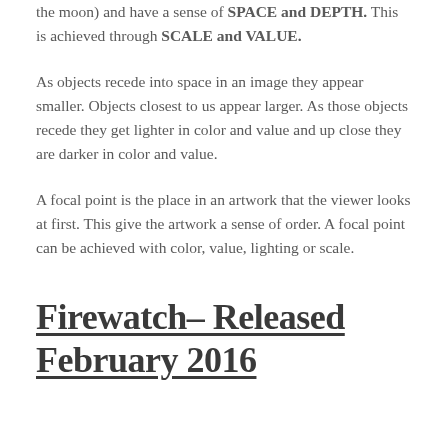the moon) and have a sense of SPACE and DEPTH. This is achieved through SCALE and VALUE.
As objects recede into space in an image they appear smaller. Objects closest to us appear larger. As those objects recede they get lighter in color and value and up close they are darker in color and value.
A focal point is the place in an artwork that the viewer looks at first. This give the artwork a sense of order. A focal point can be achieved with color, value, lighting or scale.
Firewatch– Released February 2016